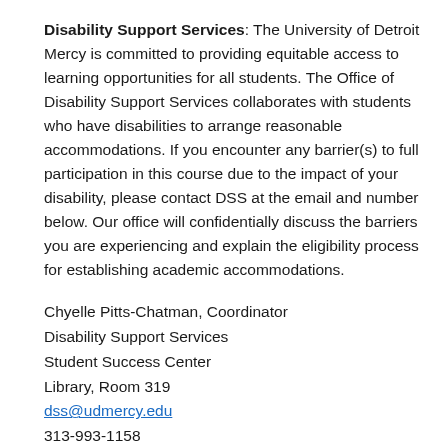Disability Support Services: The University of Detroit Mercy is committed to providing equitable access to learning opportunities for all students. The Office of Disability Support Services collaborates with students who have disabilities to arrange reasonable accommodations. If you encounter any barrier(s) to full participation in this course due to the impact of your disability, please contact DSS at the email and number below. Our office will confidentially discuss the barriers you are experiencing and explain the eligibility process for establishing academic accommodations.
Chyelle Pitts-Chatman, Coordinator
Disability Support Services
Student Success Center
Library, Room 319
dss@udmercy.edu
313-993-1158
http://www.udmercy.edu/contacts/student/accommod...